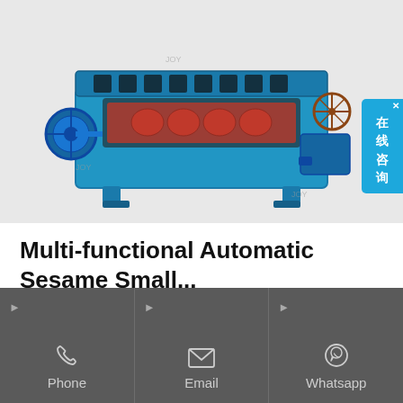[Figure (photo): Blue industrial oil press machine with rotating drum and mechanical components, viewed from the front-side angle]
Multi-functional Automatic Sesame Small...
Buy multi-functional automatic sesame small oil press machine to extract oils from a great variety of nuts and seeds. It can control the pressing temperature
Phone  Email  Whatsapp